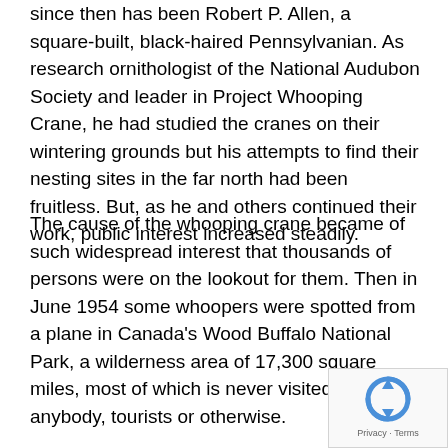since then has been Robert P. Allen, a square-built, black-haired Pennsylvanian. As research ornithologist of the National Audubon Society and leader in Project Whooping Crane, he had studied the cranes on their wintering grounds but his attempts to find their nesting sites in the far north had been fruitless. But, as he and others continued their work, public interest increased steadily.
The cause of the whooping crane became of such widespread interest that thousands of persons were on the lookout for them. Then in June 1954 some whoopers were spotted from a plane in Canada's Wood Buffalo National Park, a wilderness area of 17,300 square miles, most of which is never visited by anybody, tourists or otherwise.
[Figure (other): reCAPTCHA widget overlay in bottom-right corner with circular arrow icon and 'Privacy - Terms' text]